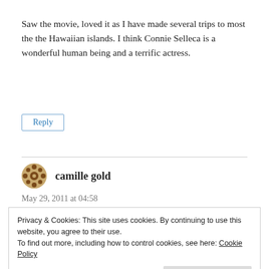Saw the movie, loved it as I have made several trips to most the the Hawaiian islands. I think Connie Selleca is a wonderful human being and a terrific actress.
Reply
camille gold
May 29, 2011 at 04:58
Privacy & Cookies: This site uses cookies. By continuing to use this website, you agree to their use.
To find out more, including how to control cookies, see here: Cookie Policy
Close and accept
Reply